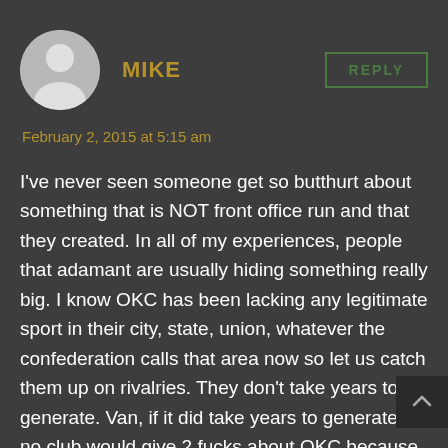[Figure (illustration): Circular avatar placeholder with grey silhouette of a person]
MIKE
REPLY
February 2, 2015 at 5:15 am
I've never seen someone get so butthurt about something that is NOT front office run and that they created. In all of my experiences, people that adamant are usually hiding something really big. I know OKC has been lacking any legitimate sport in their city, state, union, whatever the confederation calls that area now so let us catch them up on rivalries. They don't take years to generate. Van, if it did take years to generate, no club would give 2 fucks about OKC because who cares about a